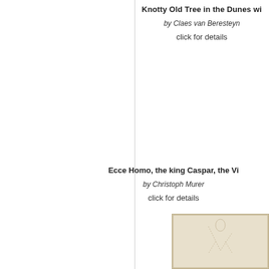Knotty Old Tree in the Dunes wi
by Claes van Beresteyn
click for details
Ecce Homo, the king Caspar, the Vi
by Christoph Murer
click for details
[Figure (illustration): Partial view of a drawing or print, beige/cream background, showing faint figurative sketch]